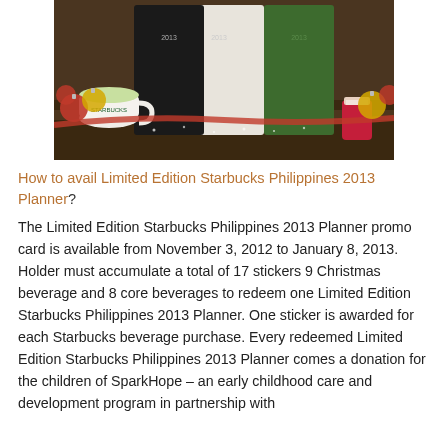[Figure (photo): Starbucks 2013 Planner promotional photo showing black, white, and green planners alongside a white Starbucks mug, a holiday Starbucks cup, and Christmas ornaments (red and gold balls) with a red ribbon on a wooden surface.]
How to avail Limited Edition Starbucks Philippines 2013 Planner?
The Limited Edition Starbucks Philippines 2013 Planner promo card is available from November 3, 2012 to January 8, 2013. Holder must accumulate a total of 17 stickers 9 Christmas beverage and 8 core beverages to redeem one Limited Edition Starbucks Philippines 2013 Planner. One sticker is awarded for each Starbucks beverage purchase. Every redeemed Limited Edition Starbucks Philippines 2013 Planner comes a donation for the children of SparkHope – an early childhood care and development program in partnership with